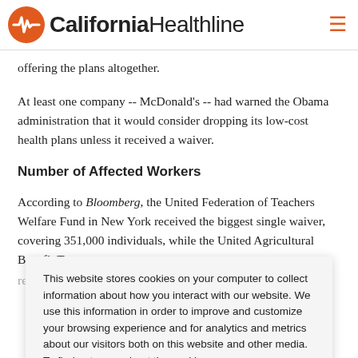California Healthline
offering the plans altogether.
At least one company -- McDonald's -- had warned the Obama administration that it would consider dropping its low-cost health plans unless it received a waiver.
Number of Affected Workers
According to Bloomberg, the United Federation of Teachers Welfare Fund in New York received the biggest single waiver, covering 351,000 individuals, while the United Agricultural Benefit Trust
received a waiver for 17,347 individuals.
This website stores cookies on your computer to collect information about how you interact with our website. We use this information in order to improve and customize your browsing experience and for analytics and metrics about our visitors both on this website and other media. To find out more about the cookies we use, see our Privacy Policy.
Accept